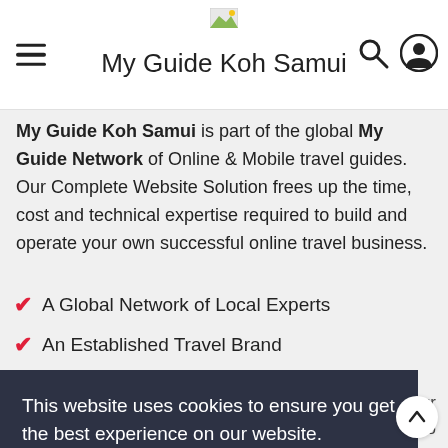My Guide Koh Samui
My Guide Koh Samui is part of the global My Guide Network of Online & Mobile travel guides. Our Complete Website Solution frees up the time, cost and technical expertise required to build and operate your own successful online travel business.
A Global Network of Local Experts
An Established Travel Brand
Cutting Edge Technology (partial)
This website uses cookies to ensure you get the best experience on our website.
Learn more
Got it!